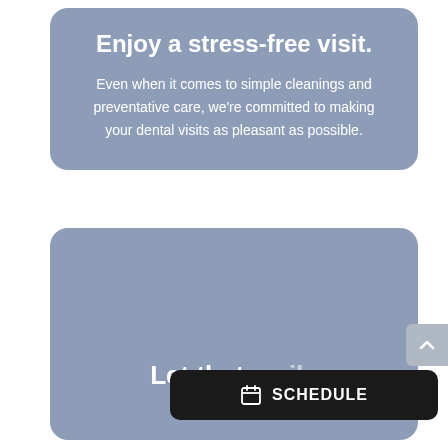Enjoy a stress-free visit.
Even when it comes to simple cleanings and preventative care, we're committed to making your dental visits as pleasant as possible.
[Figure (illustration): Gray-blue rounded card with partially visible text 'Let that smile shine.' at the bottom]
Let that smile shine.